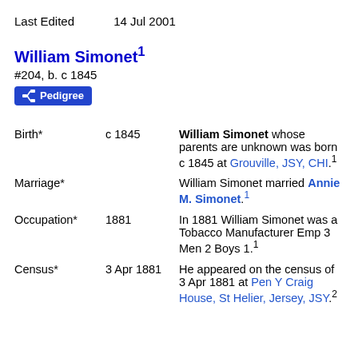Last Edited    14 Jul 2001
William Simonet¹
#204, b. c 1845
Pedigree
| Event | Date | Description |
| --- | --- | --- |
| Birth* | c 1845 | William Simonet whose parents are unknown was born c 1845 at Grouville, JSY, CHI.¹ |
| Marriage* |  | William Simonet married Annie M. Simonet.¹ |
| Occupation* | 1881 | In 1881 William Simonet was a Tobacco Manufacturer Emp 3 Men 2 Boys 1.¹ |
| Census* | 3 Apr 1881 | He appeared on the census of 3 Apr 1881 at Pen Y Craig House, St Helier, Jersey, JSY.² |